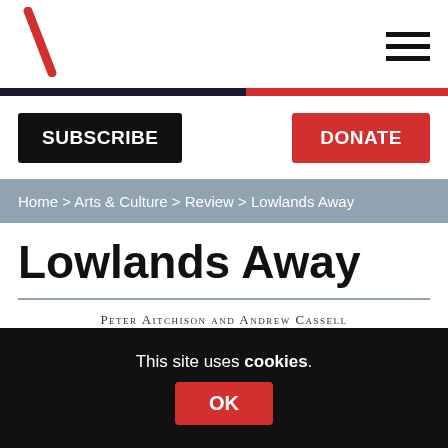[Figure (logo): Red diagonal slash logo (backslash) in top-left corner]
[Figure (other): Hamburger menu icon (three horizontal lines) in top-right corner]
SUBSCRIBE
DONATE
Home > Arts & Culture > Review > Lowlands Away
Lowlands Away
Peter Aitchison and Andrew Cassell
This site uses cookies. OK